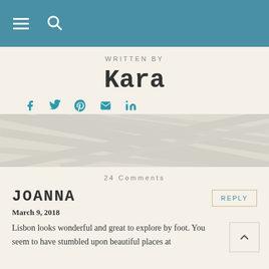WRITTEN BY
Kara
[Figure (illustration): Social media icons row: Facebook, Twitter, Pinterest, Email, LinkedIn in teal color]
[Figure (illustration): Decorative background with subtle pattern]
24 Comments
JOANNA
March 9, 2018
Lisbon looks wonderful and great to explore by foot. You seem to have stumbled upon beautiful places at